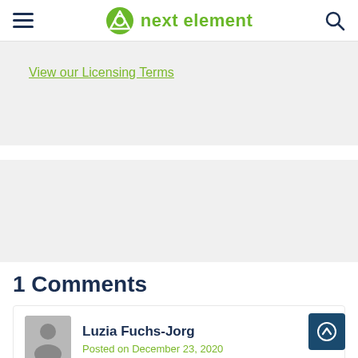next element
View our Licensing Terms
1 Comments
Luzia Fuchs-Jorg
Posted on December 23, 2020
Thank you so much for your excellent postings. We wish you all a merry